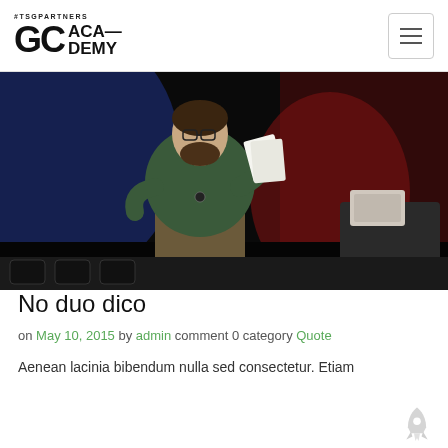#TSGPARTNERS GC ACADEMY
[Figure (photo): A bearded man in a green sweater speaking on stage, holding papers, with a lectern and lighting in the background.]
No duo dico
on May 10, 2015 by admin comment 0 category Quote
Aenean lacinia bibendum nulla sed consectetur. Etiam